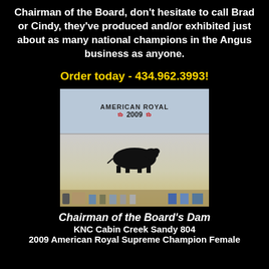Chairman of the Board, don't hesitate to call Brad or Cindy, they've produced and/or exhibited just about as many national champions in the Angus business as anyone.
Order today - 434.962.3993!
[Figure (photo): Group of people posing with a black Angus cow at the American Royal 2009 livestock show. A banner in the background reads 'AMERICAN ROYAL 2009'. People hold a ribbon/blanket award.]
Chairman of the Board's Dam KNC Cabin Creek Sandy 804 2009 American Royal Supreme Champion Female